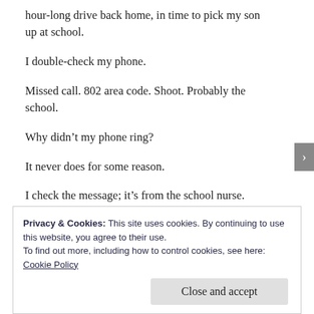hour-long drive back home, in time to pick my son up at school.
I double-check my phone.
Missed call. 802 area code. Shoot. Probably the school.
Why didn’t my phone ring?
It never does for some reason.
I check the message; it’s from the school nurse.
Big emergency:
Cake has been brought into the classroom.
Privacy & Cookies: This site uses cookies. By continuing to use this website, you agree to their use.
To find out more, including how to control cookies, see here: Cookie Policy
Close and accept